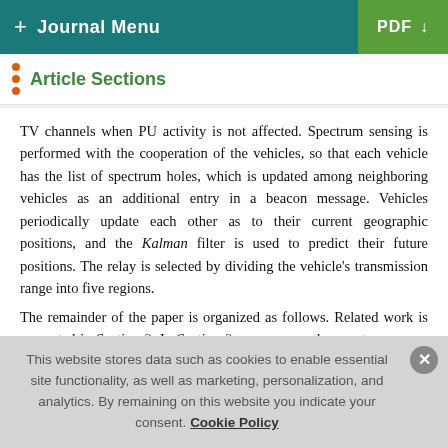+ Journal Menu | PDF (download)
Article Sections
TV channels when PU activity is not affected. Spectrum sensing is performed with the cooperation of the vehicles, so that each vehicle has the list of spectrum holes, which is updated among neighboring vehicles as an additional entry in a beacon message. Vehicles periodically update each other as to their current geographic positions, and the Kalman filter is used to predict their future positions. The relay is selected by dividing the vehicle's transmission range into five regions.

The remainder of the paper is organized as follows. Related work is presented in Section 2. In Section 3, we propose the spectrum-aware geographic routing protocol using a Kalman
This website stores data such as cookies to enable essential site functionality, as well as marketing, personalization, and analytics. By remaining on this website you indicate your consent. Cookie Policy